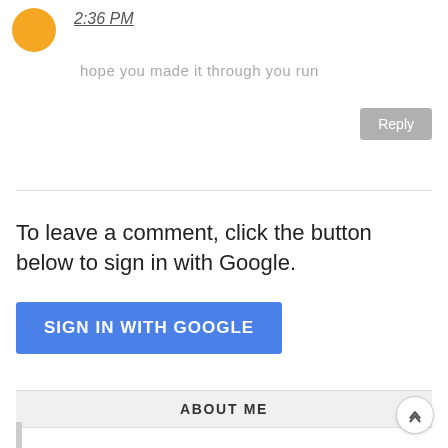2:36 PM
hope you made it through you run
Reply
To leave a comment, click the button below to sign in with Google.
SIGN IN WITH GOOGLE
ABOUT ME